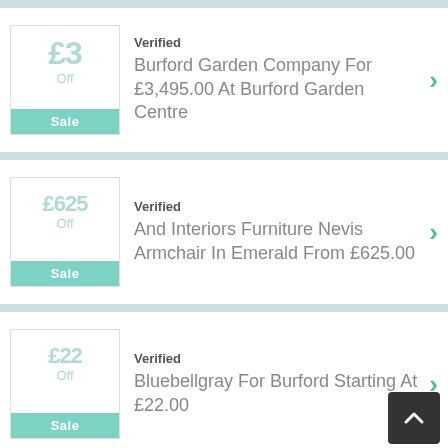[Figure (infographic): Deal card 1: £3 off Sale coupon box. Verified label. Text: Burford Garden Company For £3,495.00 At Burford Garden Centre. Green chevron arrow.]
[Figure (infographic): Deal card 2: £625 off Sale coupon box. Verified label. Text: And Interiors Furniture Nevis Armchair In Emerald From £625.00. Green chevron arrow.]
[Figure (infographic): Deal card 3: £22 off Sale coupon box. Verified label. Text: Bluebellgray For Burford Starting At £22.00. Green chevron arrow. Dark back-to-top button overlay.]